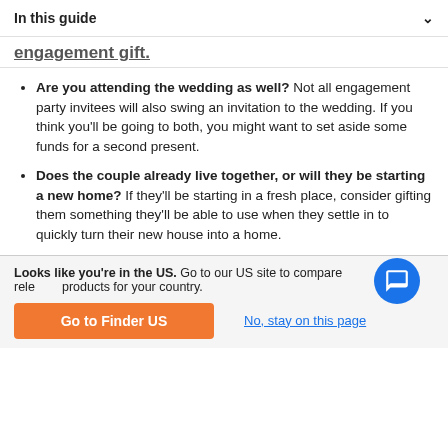In this guide
engagement gift.
Are you attending the wedding as well? Not all engagement party invitees will also swing an invitation to the wedding. If you think you'll be going to both, you might want to set aside some funds for a second present.
Does the couple already live together, or will they be starting a new home? If they'll be starting in a fresh place, consider gifting them something they'll be able to use when they settle in to quickly turn their new house into a home.
Looks like you're in the US. Go to our US site to compare relevant products for your country.
Go to Finder US
No, stay on this page